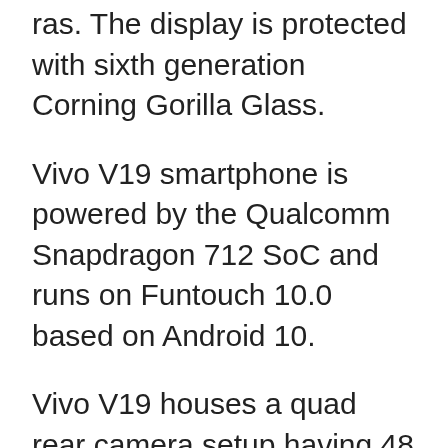ras. The display is protected with sixth generation Corning Gorilla Glass.
Vivo V19 smartphone is powered by the Qualcomm Snapdragon 712 SoC and runs on Funtouch 10.0 based on Android 10.
Vivo V19 houses a quad rear camera setup having 48 MP primary camera with f/1.8 aperture, an 8 MP ultrawide camera with f/2.2 aperture, a 2 MP macro camera with f/2.4 aperture and 2 MP depth sensor with f/2.4 aperture. The rear cameras are aligned on the top left corner of the smartphone positioned in an L-shaped manner.
For selfies, this phone has 2 cameras equipped inside the larger cutout. It has 32 MP primary sensor